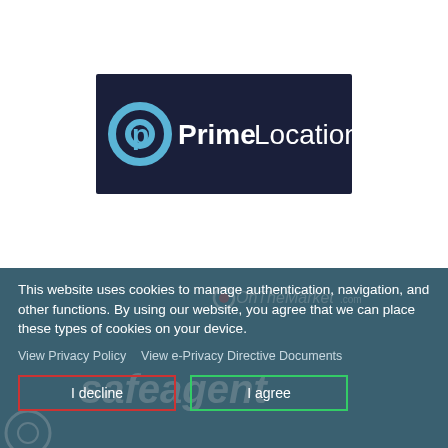[Figure (logo): PrimeLocation.com logo — dark navy background rectangle with a blue circular 'p' icon on the left and white text 'PrimeLocation.com' where 'Prime' is bold and 'Location.com' is lighter weight]
This website uses cookies to manage authentication, navigation, and other functions. By using our website, you agree that we can place these types of cookies on your device.
View Privacy Policy   View e-Privacy Directive Documents
I decline
I agree